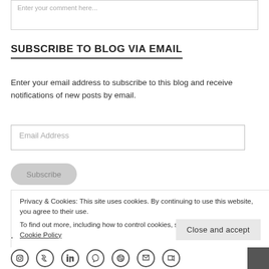Enter your comment here...
SUBSCRIBE TO BLOG VIA EMAIL
Enter your email address to subscribe to this blog and receive notifications of new posts by email.
Email Address
Subscribe
Privacy & Cookies: This site uses cookies. By continuing to use this website, you agree to their use.
To find out more, including how to control cookies, see here:
Cookie Policy
Close and accept